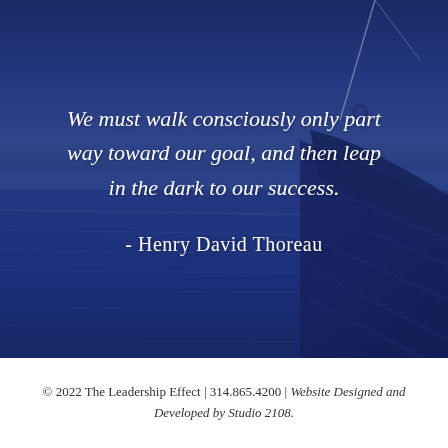[Figure (photo): A blue-toned photograph of a boat/sailboat on calm water at dusk or dawn, with a dark blue overlay tint. The boat's hull and mast rigging are visible on the right side, with a calm ocean/sea horizon in the background.]
We must walk consciously only part way toward our goal, and then leap in the dark to our success.
- Henry David Thoreau
© 2022 The Leadership Effect | 314.865.4200 | Website Designed and Developed by Studio 2108.